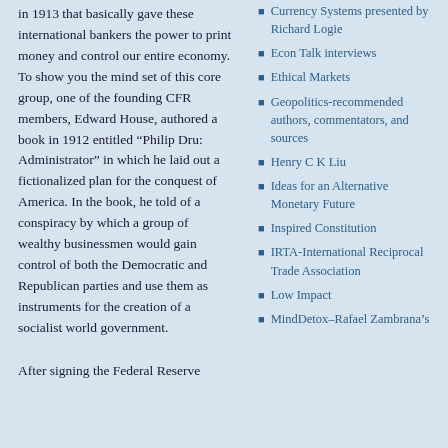in 1913 that basically gave these international bankers the power to print money and control our entire economy. To show you the mind set of this core group, one of the founding CFR members, Edward House, authored a book in 1912 entitled “Philip Dru: Administrator” in which he laid out a fictionalized plan for the conquest of America. In the book, he told of a conspiracy by which a group of wealthy businessmen would gain control of both the Democratic and Republican parties and use them as instruments for the creation of a socialist world government.
After signing the Federal Reserve
Currency Systems presented by Richard Logie
Econ Talk interviews
Ethical Markets
Geopolitics-recommended authors, commentators, and sources
Henry C K Liu
Ideas for an Alternative Monetary Future
Inspired Constitution
IRTA-International Reciprocal Trade Association
Low Impact
MindDetox–Rafael Zambrana's